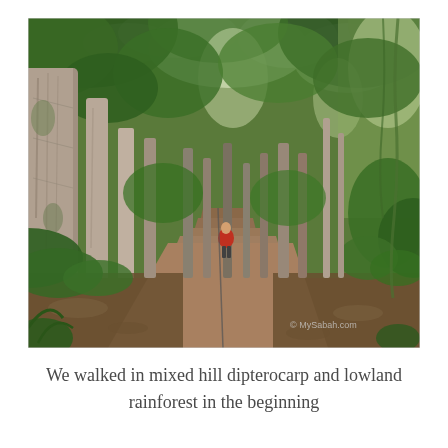[Figure (photo): A forest trail winding uphill through a mixed hill dipterocarp and lowland rainforest. Tall, light-barked trees line both sides of a dirt path. A person in a red top is visible in the middle distance on the trail. Dense green foliage canopies overhead. A watermark 'MySabah.com' is visible in the lower right corner.]
We walked in mixed hill dipterocarp and lowland rainforest in the beginning